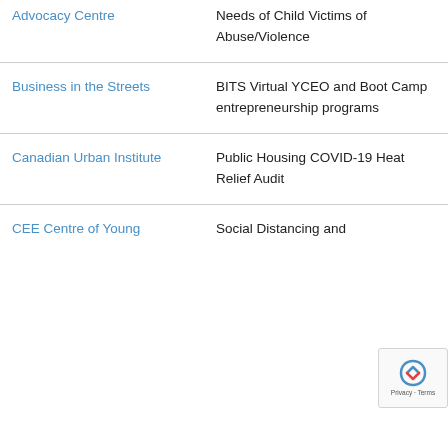| Organization | Program/Initiative |
| --- | --- |
| Advocacy Centre | Needs of Child Victims of Abuse/Violence |
| Business in the Streets | BITS Virtual YCEO and Boot Camp entrepreneurship programs |
| Canadian Urban Institute | Public Housing COVID-19 Heat Relief Audit |
| CEE Centre of Young | Social Distancing and… |